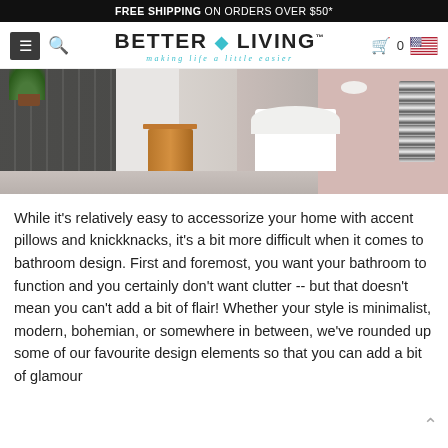FREE SHIPPING ON ORDERS OVER $50*
[Figure (logo): Better Living logo with hamburger menu, search icon, shopping cart showing 0, and US flag]
[Figure (photo): Modern bathroom interior with dark tile walls on left, light walls on right, wooden stool in center, white wall-hung toilet on right side, mosaic/patterned towel on right wall]
While it’s relatively easy to accessorize your home with accent pillows and knickknacks, it’s a bit more difficult when it comes to bathroom design. First and foremost, you want your bathroom to function and you certainly don’t want clutter -- but that doesn’t mean you can’t add a bit of flair! Whether your style is minimalist, modern, bohemian, or somewhere in between, we’ve rounded up some of our favourite design elements so that you can add a bit of glamour